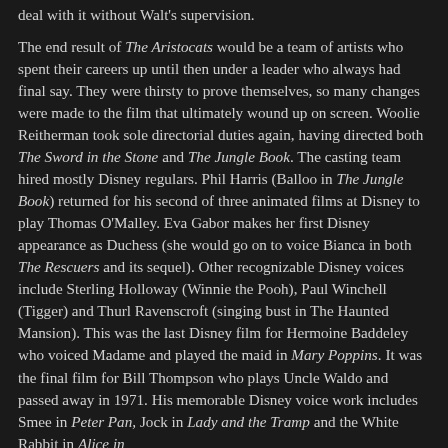deal with it without Walt's supervision.
The end result of The Aristocats would be a team of artists who spent their careers up until then under a leader who always had final say. They were thirsty to prove themselves, so many changes were made to the film that ultimately wound up on screen. Woolie Reitherman took sole directorial duties again, having directed both The Sword in the Stone and The Jungle Book. The casting team hired mostly Disney regulars. Phil Harris (Balloo in The Jungle Book) returned for his second of three animated films at Disney to play Thomas O'Malley. Eva Gabor makes her first Disney appearance as Duchess (she would go on to voice Bianca in both The Rescuers and its sequel). Other recognizable Disney voices include Sterling Holloway (Winnie the Pooh), Paul Winchell (Tigger) and Thurl Ravenscroft (singing bust in The Haunted Mansion). This was the last Disney film for Hermoine Baddeley who voiced Madame and played the maid in Mary Poppins. It was the final film for Bill Thompson who plays Uncle Waldo and passed away in 1971. His memorable Disney voice work includes Smee in Peter Pan, Jock in Lady and the Tramp and the White Rabbit in Alice in